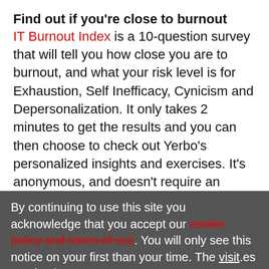Find out if you're close to burnout
IT Burnout Index is a 10-question survey that will tell you how close you are to burnout, and what your risk level is for Exhaustion, Self Inefficacy, Cynicism and Depersonalization. It only takes 2 minutes to get the results and you can then choose to check out Yerbo's personalized insights and exercises. It's anonymous, and doesn't require an email. — CD
By continuing to use this site you acknowledge that you accept our cookie policy and terms of use. You will only see this notice on your first than your time. The visit.es use fresh